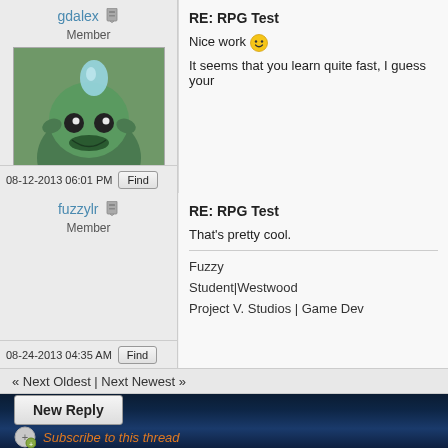gdalex | Member
[Figure (photo): Avatar image of a teal/green cartoon creature with a water droplet on its head]
RE: RPG Test
Nice work :) It seems that you learn quite fast, I guess your
08-12-2013 06:01 PM
fuzzylr | Member
RE: RPG Test
That's pretty cool.
Fuzzy
Student|Westwood
Project V. Studios | Game Dev
08-24-2013 04:35 AM
« Next Oldest | Next Newest »
New Reply
Subscribe to this thread